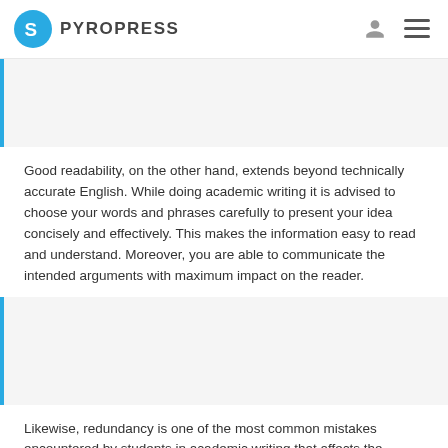PYROPRESS
[Figure (other): Blue left-border blockquote/image placeholder block]
Good readability, on the other hand, extends beyond technically accurate English. While doing academic writing it is advised to choose your words and phrases carefully to present your idea concisely and effectively. This makes the information easy to read and understand. Moreover, you are able to communicate the intended arguments with maximum impact on the reader.
[Figure (other): Blue left-border blockquote/image placeholder block]
Likewise, redundancy is one of the most common mistakes encountered by students in academic writing that affects the readability of the document. Redundancy refers to the unnecessary repetition of words, sentences, phrases, or ideas. in other words, it could be anything that can be excluded